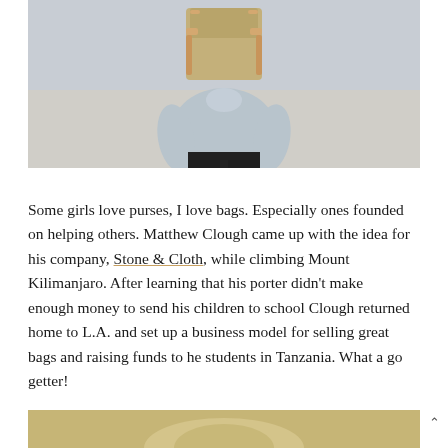[Figure (photo): Person wearing a light blue/grey shirt and dark pants, carrying a tan/khaki canvas backpack with leather straps on their back, photographed from behind/side against a light background.]
Some girls love purses, I love bags. Especially ones founded on helping others. Matthew Clough came up with the idea for his company, Stone & Cloth, while climbing Mount Kilimanjaro. After learning that his porter didn't make enough money to send his children to school Clough returned home to L.A. and set up a business model for selling great bags and raising funds to help students in Tanzania. What a go getter!
[Figure (photo): Bottom portion of another photo showing what appears to be a tan/beige bag or product, partially visible at the bottom of the page.]